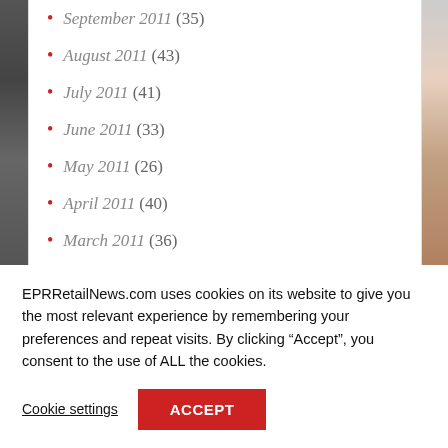September 2011 (35)
August 2011 (43)
July 2011 (41)
June 2011 (33)
May 2011 (26)
April 2011 (40)
March 2011 (36)
February 2011 (24)
EPRRetailNews.com uses cookies on its website to give you the most relevant experience by remembering your preferences and repeat visits. By clicking “Accept”, you consent to the use of ALL the cookies.
Cookie settings  ACCEPT